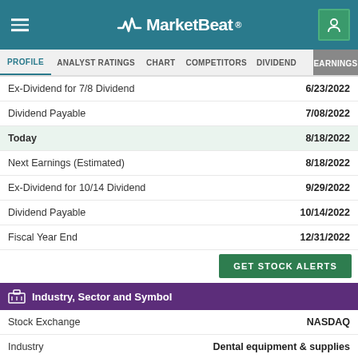MarketBeat
PROFILE  ANALYST RATINGS  CHART  COMPETITORS  DIVIDEND  EARNINGS
| Event | Date |
| --- | --- |
| Ex-Dividend for 7/8 Dividend | 6/23/2022 |
| Dividend Payable | 7/08/2022 |
| Today | 8/18/2022 |
| Next Earnings (Estimated) | 8/18/2022 |
| Ex-Dividend for 10/14 Dividend | 9/29/2022 |
| Dividend Payable | 10/14/2022 |
| Fiscal Year End | 12/31/2022 |
GET STOCK ALERTS
Industry, Sector and Symbol
| Label | Value |
| --- | --- |
| Stock Exchange | NASDAQ |
| Industry | Dental equipment & supplies |
| Sub-Industry | Health Care Supplies |
| Sector | Medical |